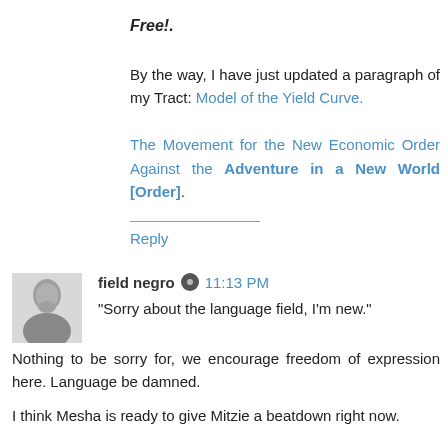Free!.
By the way, I have just updated a paragraph of my Tract: Model of the Yield Curve.
The Movement for the New Economic Order Against the Adventure in a New World [Order].
Reply
field negro 11:13 PM
"Sorry about the language field, I'm new."
Nothing to be sorry for, we encourage freedom of expression here. Language be damned.
I think Mesha is ready to give Mitzie a beatdown right now.